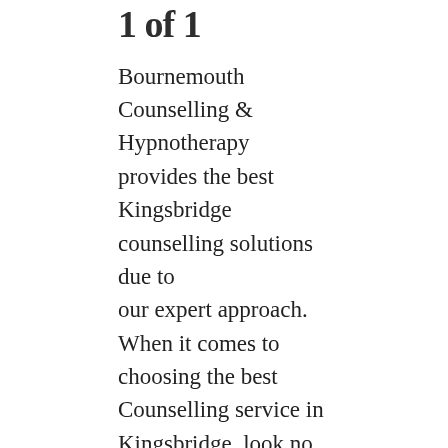1 of 1
Bournemouth Counselling & Hypnotherapy provides the best Kingsbridge counselling solutions due to our expert approach. When it comes to choosing the best Counselling service in Kingsbridge, look no further than Bournemouth Counselling & Hypnotherapy.
The staff at Bournemouth Counselling & Hypnotherapy aim to focus on your deeper needs and concerns. That is the first reason why our expert approach is considered to be the best counselling service in Kingsbridge. No matter what life has to throw at you, you can be sure that Zoe and the team will work tirelessly to get you